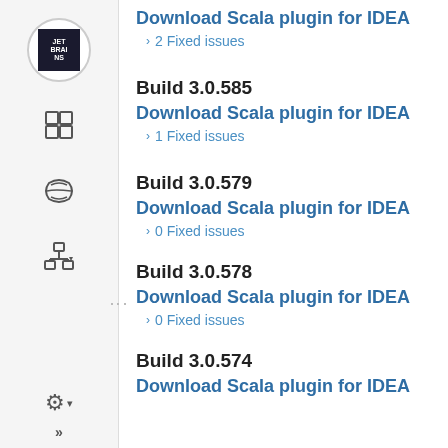Download Scala plugin for IDEA
› 2 Fixed issues
Build 3.0.585
Download Scala plugin for IDEA
› 1 Fixed issues
Build 3.0.579
Download Scala plugin for IDEA
› 0 Fixed issues
Build 3.0.578
Download Scala plugin for IDEA
› 0 Fixed issues
Build 3.0.574
Download Scala plugin for IDEA